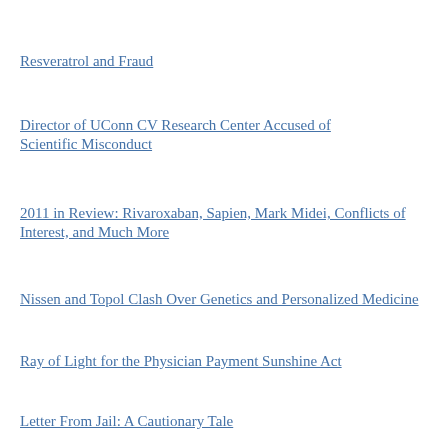Resveratrol and Fraud
Director of UConn CV Research Center Accused of Scientific Misconduct
2011 in Review: Rivaroxaban, Sapien, Mark Midei, Conflicts of Interest, and Much More
Nissen and Topol Clash Over Genetics and Personalized Medicine
Ray of Light for the Physician Payment Sunshine Act
Letter From Jail: A Cautionary Tale